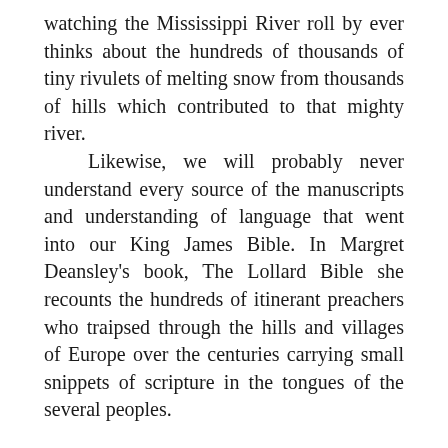watching the Mississippi River roll by ever thinks about the hundreds of thousands of tiny rivulets of melting snow from thousands of hills which contributed to that mighty river.

Likewise, we will probably never understand every source of the manuscripts and understanding of language that went into our King James Bible. In Margret Deansley's book, The Lollard Bible she recounts the hundreds of itinerant preachers who traipsed through the hills and villages of Europe over the centuries carrying small snippets of scripture in the tongues of the several peoples.